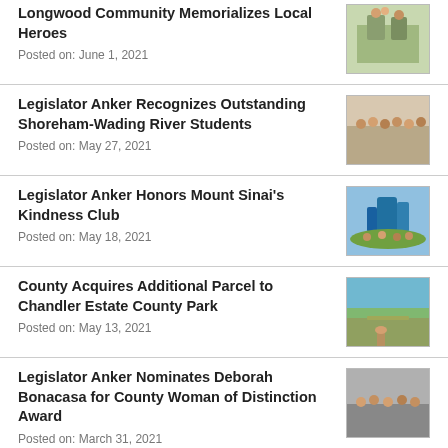Longwood Community Memorializes Local Heroes
Posted on: June 1, 2021
[Figure (photo): Group of people outdoors with a sign or award]
Legislator Anker Recognizes Outstanding Shoreham-Wading River Students
Posted on: May 27, 2021
[Figure (photo): Group of students indoors]
Legislator Anker Honors Mount Sinai's Kindness Club
Posted on: May 18, 2021
[Figure (photo): Children at a playground]
County Acquires Additional Parcel to Chandler Estate County Park
Posted on: May 13, 2021
[Figure (photo): Person standing on a park path]
Legislator Anker Nominates Deborah Bonacasa for County Woman of Distinction Award
Posted on: March 31, 2021
[Figure (photo): Group of people standing together]
County Coordinates On-Site Vaccination Effort
[Figure (photo): People at vaccination site]